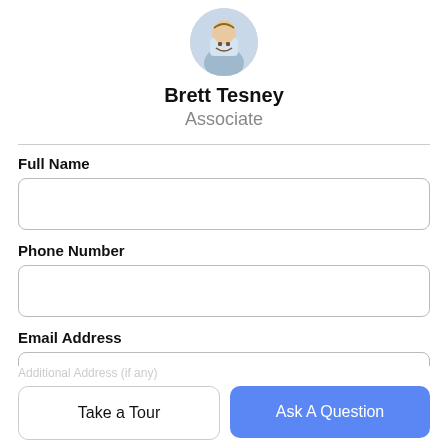[Figure (photo): Circular avatar photo of Brett Tesney, a man in a suit, cropped in a circle]
Brett Tesney
Associate
Full Name
Phone Number
Email Address
Take a Tour
Ask A Question